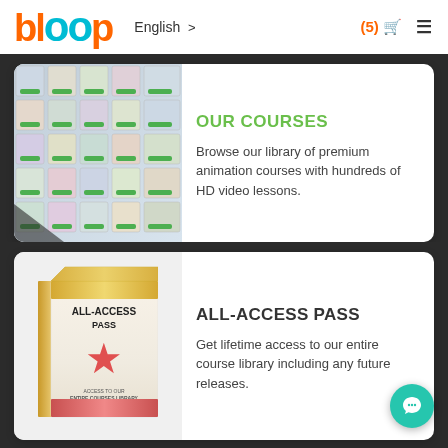bloop | English > | (5) [cart] [menu]
OUR COURSES
Browse our library of premium animation courses with hundreds of HD video lessons.
[Figure (illustration): Product box labeled ALL-ACCESS PASS with a star and 'ACCESS TO OUR ENTIRE COURSES LIBRARY']
ALL-ACCESS PASS
Get lifetime access to our entire course library including any future releases.